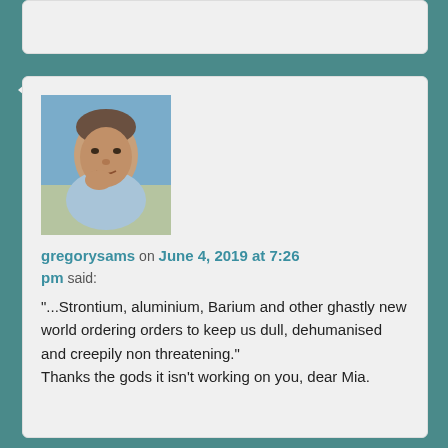[Figure (photo): Profile photo of gregorysams, a middle-aged man in a light blue shirt, resting chin on hand, outdoors background.]
gregorysams on June 4, 2019 at 7:26 pm said:
"...Strontium, aluminium, Barium and other ghastly new world ordering orders to keep us dull, dehumanised and creepily non threatening."
Thanks the gods it isn't working on you, dear Mia.
★ Liked by 1 person
Reply ↓